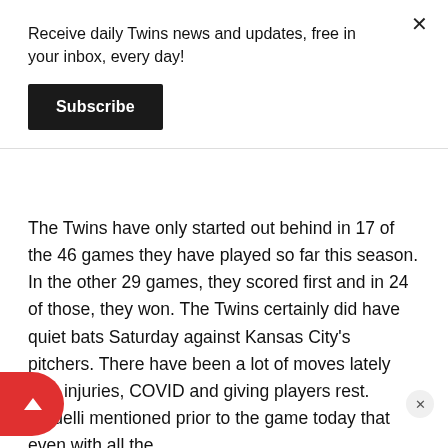Receive daily Twins news and updates, free in your inbox, every day!
Subscribe
The Twins have only started out behind in 17 of the 46 games they have played so far this season. In the other 29 games, they scored first and in 24 of those, they won. The Twins certainly did have quiet bats Saturday against Kansas City's pitchers. There have been a lot of moves lately with injuries, COVID and giving players rest. Baldelli mentioned prior to the game today that even with all the moves lately, the guys continue to stay ready, work hard